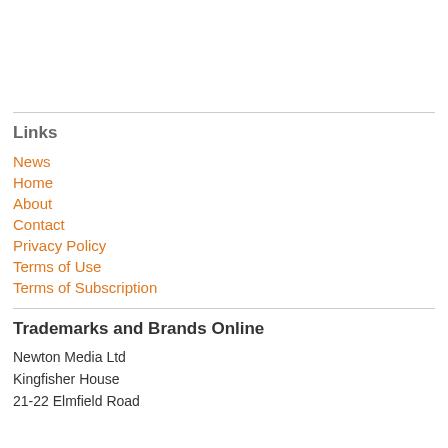Links
News
Home
About
Contact
Privacy Policy
Terms of Use
Terms of Subscription
Trademarks and Brands Online
Newton Media Ltd
Kingfisher House
21-22 Elmfield Road